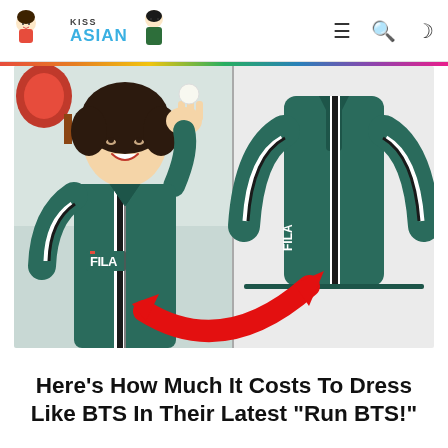KISS ASIAN
[Figure (photo): Side-by-side comparison photo: left side shows a young man (BTS member V) smiling and holding a ping pong ball, wearing a dark teal FILA track jacket with white stripe; right side shows the same FILA track jacket product photo on a plain background. A large red curved arrow points from the jacket on the left to the product photo on the right.]
Here’s How Much It Costs To Dress Like BTS In Their Latest “Run BTS!”